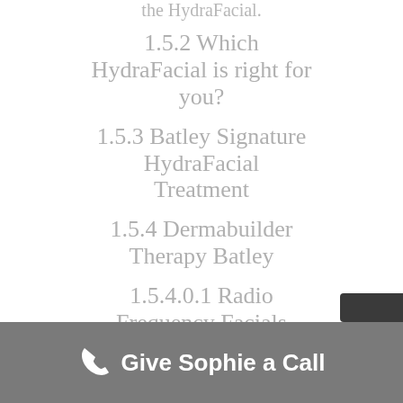1.5.2 Which HydraFacial is right for you?
1.5.3 Batley Signature HydraFacial Treatment
1.5.4 Dermabuilder Therapy Batley
1.5.4.0.1 Radio Frequency Facials Batley Dermatologist
1.5.5 RF Skin
Give Sophie a Call